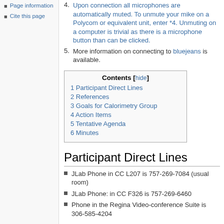Page information
Cite this page
4. Upon connection all microphones are automatically muted. To unmute your mike on a Polycom or equivalent unit, enter *4. Unmuting on a computer is trivial as there is a microphone button than can be clicked.
5. More information on connecting to bluejeans is available.
| Contents [hide] |
| --- |
| 1 Participant Direct Lines |
| 2 References |
| 3 Goals for Calorimetry Group |
| 4 Action Items |
| 5 Tentative Agenda |
| 6 Minutes |
Participant Direct Lines
JLab Phone in CC L207 is 757-269-7084 (usual room)
JLab Phone: in CC F326 is 757-269-6460
Phone in the Regina Video-conference Suite is 306-585-4204